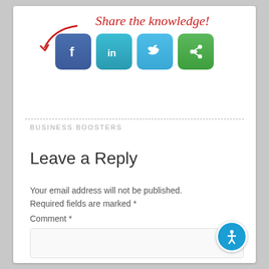[Figure (illustration): Share the knowledge! text in red italic script with a red curved arrow pointing down-left toward social media icons (Facebook, LinkedIn, Twitter, and a share/bookmark icon)]
BUSINESS BOOSTERS
Leave a Reply
Your email address will not be published. Required fields are marked *
Comment *
[Figure (screenshot): Empty comment text area input box]